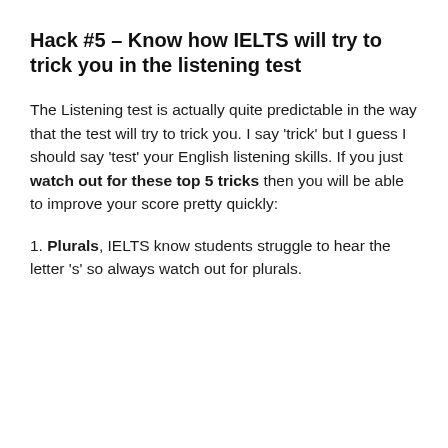Hack #5 – Know how IELTS will try to trick you in the listening test
The Listening test is actually quite predictable in the way that the test will try to trick you. I say 'trick' but I guess I should say 'test' your English listening skills. If you just watch out for these top 5 tricks then you will be able to improve your score pretty quickly:
1. Plurals, IELTS know students struggle to hear the letter 's' so always watch out for plurals.